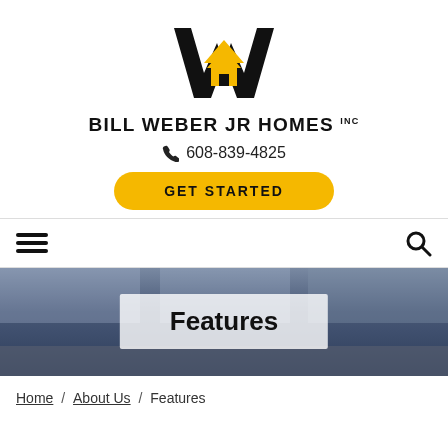[Figure (logo): Bill Weber Jr Homes Inc logo — stylized black W with a gold house shape in the center]
BILL WEBER JR HOMES INC
608-839-4825
GET STARTED
[Figure (screenshot): Hamburger menu icon (three horizontal lines) on the left and a search magnifying glass icon on the right, navigation bar]
[Figure (photo): Hero banner image showing a house exterior in winter, partially blurred/dark blue tint]
Features
Home / About Us / Features